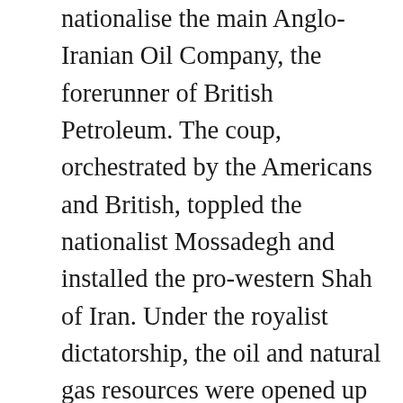nationalise the main Anglo-Iranian Oil Company, the forerunner of British Petroleum. The coup, orchestrated by the Americans and British, toppled the nationalist Mossadegh and installed the pro-western Shah of Iran. Under the royalist dictatorship, the oil and natural gas resources were opened up to private corporations, the regime launched a massive crackdown on dissent, and the monarchy ruled with an iron fist. The Iranian secret police, trained by the Americans and British, tortured and repressed all opposition to the Shah's rule. The anti-American resentment generated by this coup reverberates